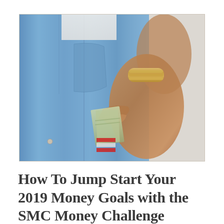[Figure (photo): Close-up photo of a person wearing light blue denim jeans and a white top, with a gold bracelet on their wrist, pulling cash money out of the front pocket of the jeans. The background on the right side is a light neutral gray-white.]
How To Jump Start Your 2019 Money Goals with the SMC Money Challenge